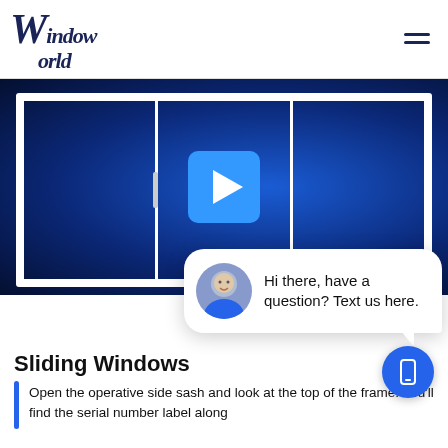Window World
[Figure (screenshot): Video thumbnail showing a white sliding window on a dark blue background with a play button overlay, a close button, and a chat popup saying 'Hi there, have a question? Text us here.']
Sliding Windows
Open the operative side sash and look at the top of the frame. You'll find the serial number label along